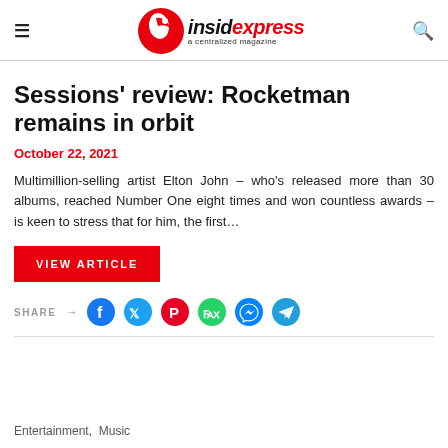insidexpress — a centralized magazine
Sessions' review: Rocketman remains in orbit
October 22, 2021
Multimillion-selling artist Elton John – who's released more than 30 albums, reached Number One eight times and won countless awards – is keen to stress that for him, the first…
VIEW ARTICLE
SHARE → [social icons: Facebook, Twitter, Pinterest, WhatsApp, Messenger, Telegram]
Entertainment,  Music